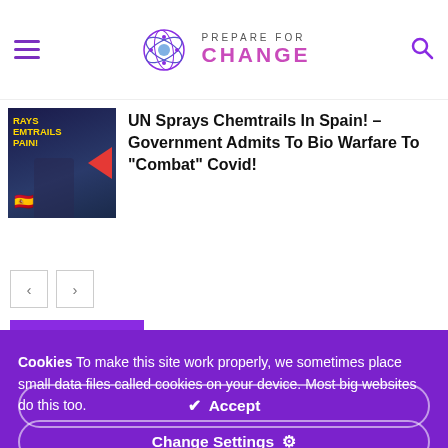PREPARE FOR CHANGE
[Figure (screenshot): Thumbnail image showing text 'SPRAYS CHEMTRAILS SPAIN!' with a flag emoji and a red arrow, dark background]
UN Sprays Chemtrails In Spain! – Government Admits To Bio Warfare To "Combat" Covid!
Cookies To make this site work properly, we sometimes place small data files called cookies on your device. Most big websites do this too.
✔ Accept
Change Settings ⚙